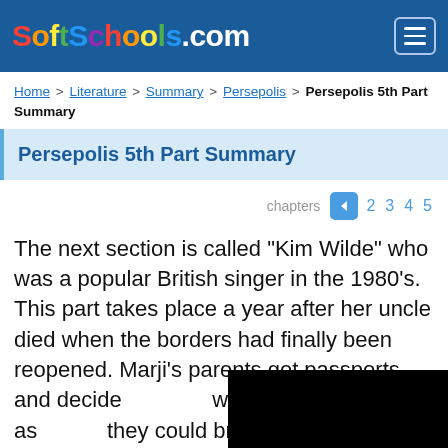SoftSchools.com
Home > Literature > Summary > Persepolis > Persepolis 5th Part Summary
Persepolis 5th Part Summary
chapters ◄ 2 3 4 5
The next section is called "Kim Wilde" who was a popular British singer in the 1980's. This part takes place a year after her uncle died when the borders had finally been reopened. Marji's parents get passports and decide without Marji. They as they could bring bac shoes, a jean jacket a Iron Maiden and Kim smuggle the items b